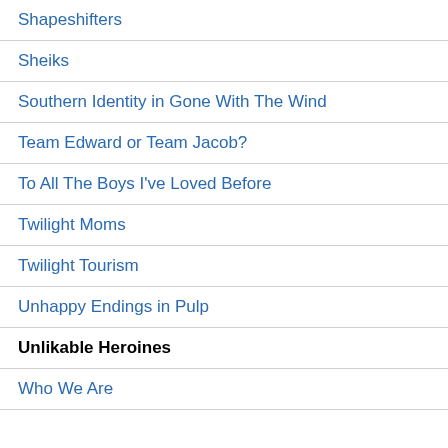Shapeshifters
Sheiks
Southern Identity in Gone With The Wind
Team Edward or Team Jacob?
To All The Boys I've Loved Before
Twilight Moms
Twilight Tourism
Unhappy Endings in Pulp
Unlikable Heroines
Who We Are